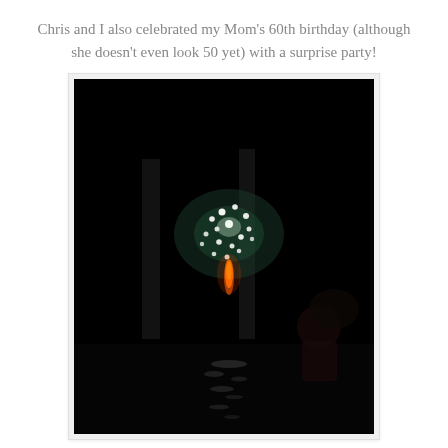Chris and I also celebrated my Mom's 60th birthday (although she doesn't even look 50 yet) with a surprise party!
[Figure (photo): Dark nighttime photo showing fireworks or sparklers being lit, with bright white sparkling lights clustered in the upper-center area and a bright orange/yellow flame below, reflected in water or a dark surface at the bottom. Two vertical poles or pillars are visible in the background.]